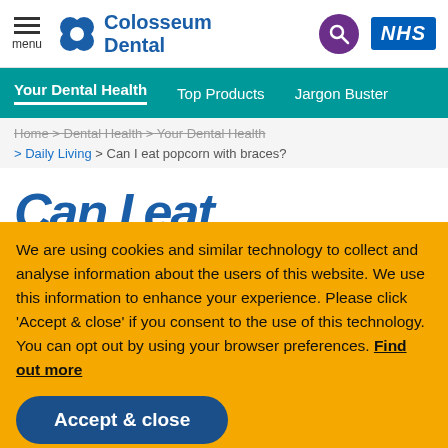Colosseum Dental — NHS — menu
Your Dental Health | Top Products | Jargon Buster
Home > Dental Health > Your Dental Health > Daily Living > Can I eat popcorn with braces?
Can I eat
We are using cookies and similar technology to collect and analyse information about the users of this website. We use this information to enhance your experience. Please click 'Accept & close' if you consent to the use of this technology. You can opt out by using your browser preferences. Find out more
Accept & close